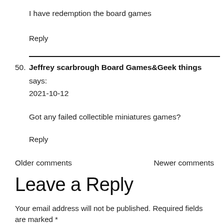I have redemption the board games
Reply
50. Jeffrey scarbrough Board Games&Geek things says: 2021-10-12
Got any failed collectible miniatures games?
Reply
Older comments
Newer comments
Leave a Reply
Your email address will not be published. Required fields are marked *